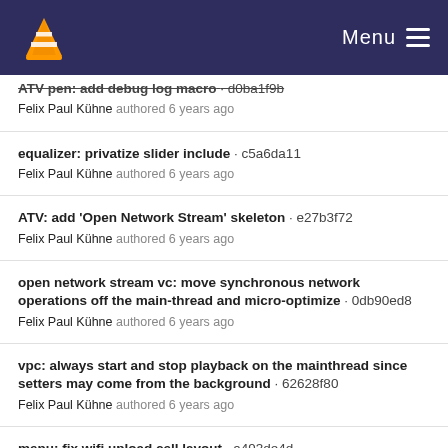VLC Media Player - Menu
ATV pen: add debug log macro · d0ba1f9b
Felix Paul Kühne authored 6 years ago
equalizer: privatize slider include · c5a6da11
Felix Paul Kühne authored 6 years ago
ATV: add 'Open Network Stream' skeleton · e27b3f72
Felix Paul Kühne authored 6 years ago
open network stream vc: move synchronous network operations off the main-thread and micro-optimize · 0db90ed8
Felix Paul Kühne authored 6 years ago
vpc: always start and stop playback on the mainthread since setters may come from the background · 62628f80
Felix Paul Kühne authored 6 years ago
menu: fix wifi upload cell layout · a493de4d